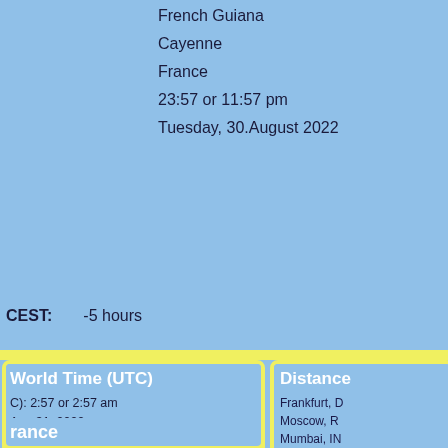French Guiana
Cayenne
France
23:57 or 11:57 pm
Tuesday, 30.August 2022
CEST:   -5 hours
World Time (UTC)
C): 2:57 or 2:57 am
Aug 31, 2022

0' W
. Guiana Time (GFT)
UTC: -3
UTC: -3

stments known.
Distance
Frankfurt, D
Moscow, R
Mumbai, IN
Singapore
Hong Kong
Shanghai, C
Beijing, CN
Seoul, Kore
Rio, Brazil
Cape Town
Sydney, AU
Auckland, N
rance